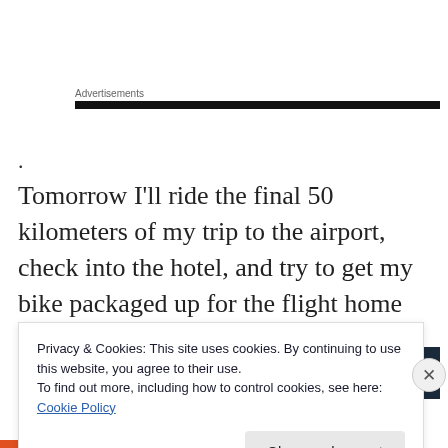Advertisements
.
Tomorrow I'll ride the final 50 kilometers of my trip to the airport, check into the hotel, and try to get my bike packaged up for the flight home on Saturday.
Advertisements
Privacy & Cookies: This site uses cookies. By continuing to use this website, you agree to their use.
To find out more, including how to control cookies, see here: Cookie Policy
Close and accept